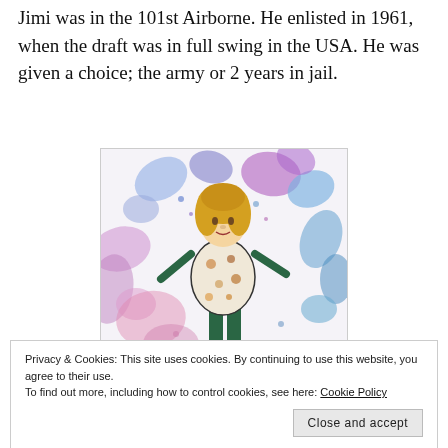Jimi was in the 101st Airborne. He enlisted in 1961, when the draft was in full swing in the USA. He was given a choice; the army or 2 years in jail.
[Figure (illustration): A colorful painting/illustration of a female figure with golden/blonde hair wearing a floral outfit, surrounded by abstract splashes of blue, purple, and pink paint on a white background.]
Privacy & Cookies: This site uses cookies. By continuing to use this website, you agree to their use.
To find out more, including how to control cookies, see here: Cookie Policy
Close and accept
While serving at Fort Dixon, Kentucky, he met bass